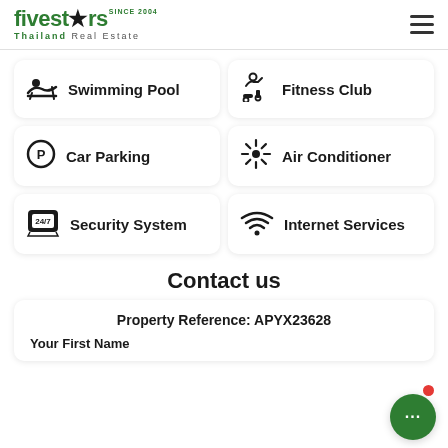fivestars Thailand Real Estate (logo)
Swimming Pool
Fitness Club
Car Parking
Air Conditioner
Security System
Internet Services
Contact us
Property Reference: APYX23628
Your First Name